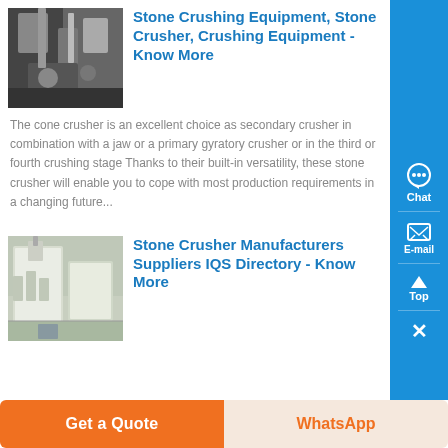[Figure (photo): Photo of stone crushing machinery/equipment, dark industrial setting]
Stone Crushing Equipment, Stone Crusher, Crushing Equipment - Know More
The cone crusher is an excellent choice as secondary crusher in combination with a jaw or a primary gyratory crusher or in the third or fourth crushing stage Thanks to their built-in versatility, these stone crusher will enable you to cope with most production requirements in a changing future...
[Figure (photo): Photo of industrial stone crusher building/equipment, warehouse setting]
Stone Crusher Manufacturers Suppliers IQS Directory - Know More